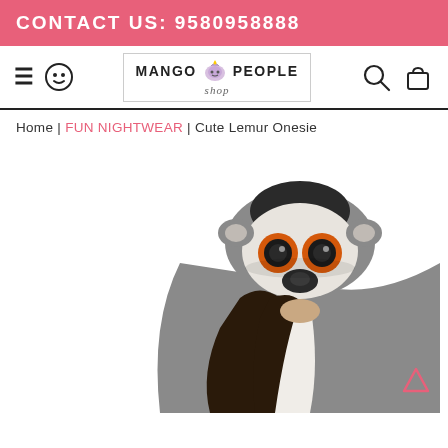CONTACT US: 9580958888
[Figure (logo): Mango People Shop logo with unicorn icon inside a bordered rectangle]
Home | FUN NIGHTWEAR | Cute Lemur Onesie
[Figure (photo): Person wearing a grey Cute Lemur Onesie costume with lemur face hood with orange eyes, white face, and grey ears, dark hair visible, bowed head]